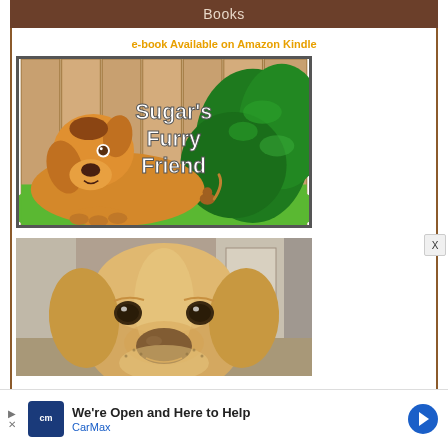Books
e-book Available on Amazon Kindle
[Figure (illustration): Book cover for 'Sugar's Furry Friend' showing a cartoon golden dog lying on green grass near a wooden fence with green bushes and a small squirrel.]
[Figure (photo): Close-up photo of a golden retriever dog resting its chin, looking at camera with soft brown eyes, indoor setting visible in background.]
We're Open and Here to Help CarMax